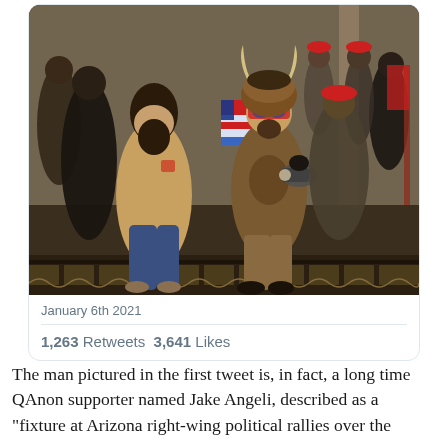[Figure (photo): Photo of a group of people inside the US Capitol on January 6th 2021. A man in the center wears a horned fur hat, face paint, and carries an American flag and a megaphone. Other people surround him, some wearing red caps.]
January 6th 2021
1,263 Retweets  3,641 Likes
The man pictured in the first tweet is, in fact, a long time QAnon supporter named Jake Angeli, described as a "fixture at Arizona right-wing political rallies over the